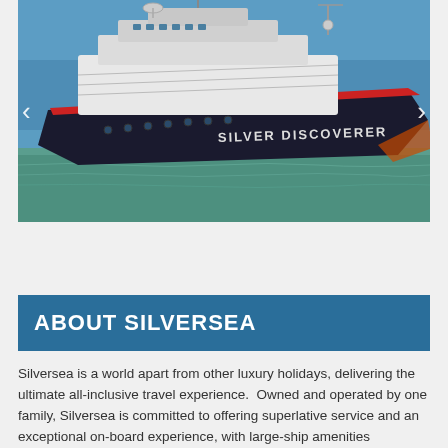[Figure (photo): A large luxury cruise ship named 'Silver Discoverer' photographed from the side-front angle, floating on calm turquoise-green water against a clear blue sky. The ship is predominantly dark navy/black hull with a white upper structure and a red stripe along the hull. Navigation arrows (< >) appear on the left and right sides of the image.]
ABOUT SILVERSEA
Silversea is a world apart from other luxury holidays, delivering the ultimate all-inclusive travel experience.  Owned and operated by one family, Silversea is committed to offering superlative service and an exceptional on-board experience, with large-ship amenities